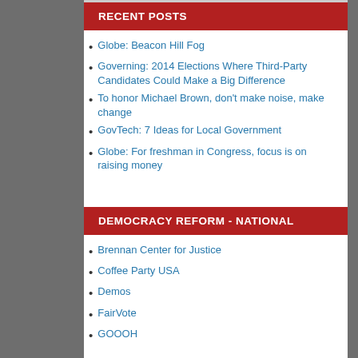RECENT POSTS
Globe: Beacon Hill Fog
Governing: 2014 Elections Where Third-Party Candidates Could Make a Big Difference
To honor Michael Brown, don't make noise, make change
GovTech: 7 Ideas for Local Government
Globe: For freshman in Congress, focus is on raising money
DEMOCRACY REFORM - NATIONAL
Brennan Center for Justice
Coffee Party USA
Demos
FairVote
GOOOH